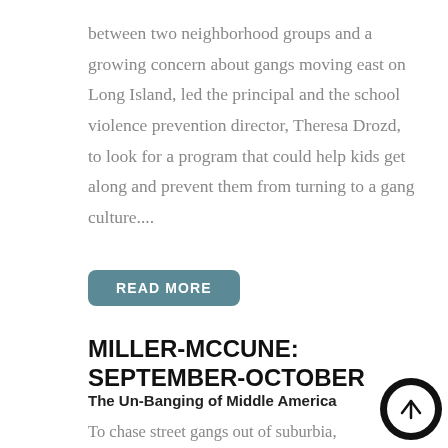between two neighborhood groups and a growing concern about gangs moving east on Long Island, led the principal and the school violence prevention director, Theresa Drozd, to look for a program that could help kids get along and prevent them from turning to a gang culture....
READ MORE
MILLER-MCCUNE: SEPTEMBER-OCTOBER
The Un-Banging of Middle America
To chase street gangs out of suburbia, adults will h... to make a dramatic change: They'll have to start paying